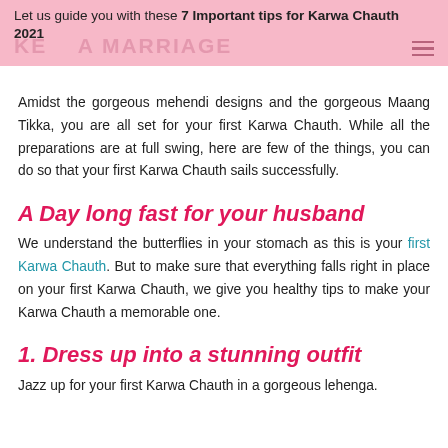Let us guide you with these 7 Important tips for Karwa Chauth 2021
Amidst the gorgeous mehendi designs and the gorgeous Maang Tikka, you are all set for your first Karwa Chauth. While all the preparations are at full swing, here are few of the things, you can do so that your first Karwa Chauth sails successfully.
A Day long fast for your husband
We understand the butterflies in your stomach as this is your first Karwa Chauth. But to make sure that everything falls right in place on your first Karwa Chauth, we give you healthy tips to make your Karwa Chauth a memorable one.
1. Dress up into a stunning outfit
Jazz up for your first Karwa Chauth in a gorgeous lehenga.